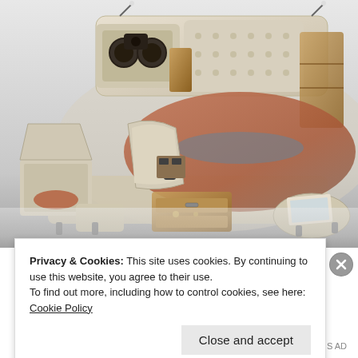[Figure (photo): A multi-functional luxury bed with cream/beige leather upholstery, featuring built-in speakers, reading lamps, storage compartments, drawers, a reclining chaise lounge section, and a massage chair attachment. The bed has an open storage lift on the left and wooden drawer units in the front. Orange/rust colored bedding is visible.]
Privacy & Cookies: This site uses cookies. By continuing to use this website, you agree to their use.
To find out more, including how to control cookies, see here: Cookie Policy
Close and accept